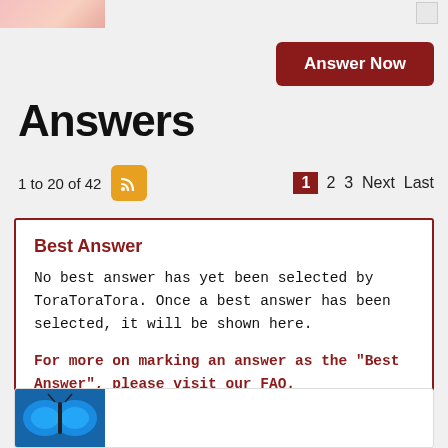[Figure (photo): Partial image at top left, pinkish tones]
Answer Now
Answers
1 to 20 of 42
1 2 3 Next Last
Best Answer
No best answer has yet been selected by ToraToraTora. Once a best answer has been selected, it will be shown here.
For more on marking an answer as the "Best Answer", please visit our FAQ.
[Figure (photo): Blue butterfly wings visible at bottom]